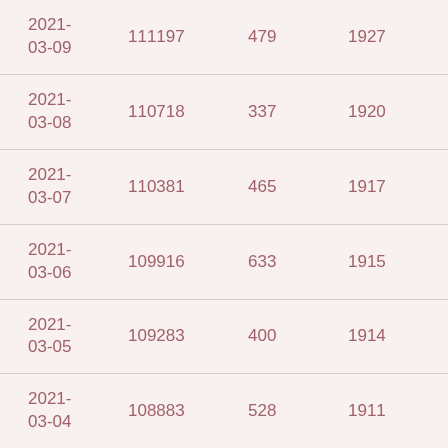| 2021-03-09 | 111197 | 479 | 1927 | 7 |
| 2021-03-08 | 110718 | 337 | 1920 | 3 |
| 2021-03-07 | 110381 | 465 | 1917 | 2 |
| 2021-03-06 | 109916 | 633 | 1915 | 1 |
| 2021-03-05 | 109283 | 400 | 1914 | 3 |
| 2021-03-04 | 108883 | 528 | 1911 | 4 |
| 2021-03-03 | 108355 | 331 | 1907 | 3 |